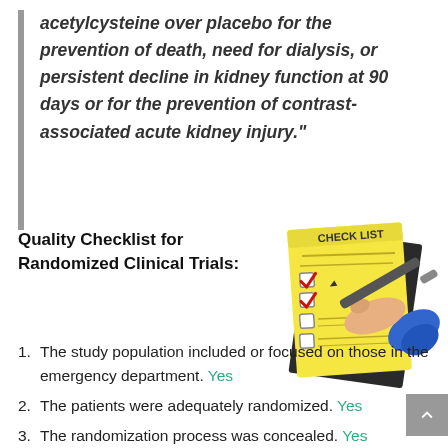acetylcysteine over placebo for the prevention of death, need for dialysis, or persistent decline in kidney function at 90 days or for the prevention of contrast-associated acute kidney injury."
Quality Checklist for Randomized Clinical Trials:
[Figure (illustration): Illustration of a hand holding a pen checking boxes on a yellow checklist notepad labeled CHECK LIST with two red checkmarks]
The study population included or focused on those in the emergency department. Yes
The patients were adequately randomized. Yes
The randomization process was concealed. Yes
The patients were analyzed in the groups to which they were randomized.